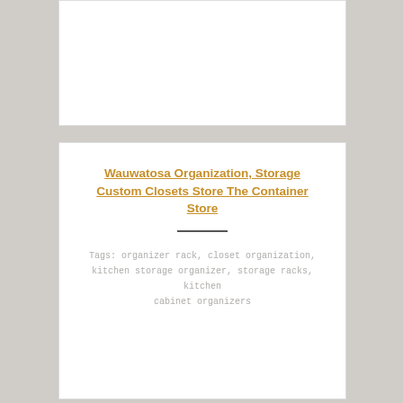[Figure (other): White card placeholder image area, blank white rectangle with border]
Wauwatosa Organization, Storage Custom Closets Store The Container Store
Tags: organizer rack, closet organization, kitchen storage organizer, storage racks, kitchen cabinet organizers